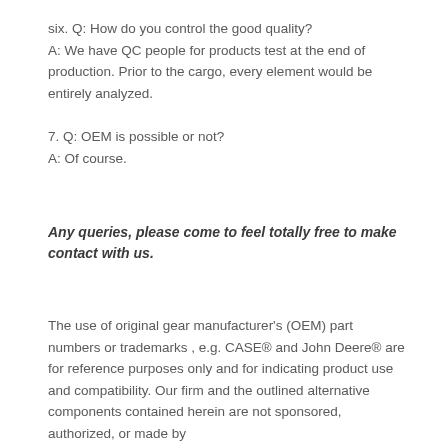six. Q: How do you control the good quality?
A: We have QC people for products test at the end of production. Prior to the cargo, every element would be entirely analyzed.
7. Q: OEM is possible or not?
A: Of course.
Any queries, please come to feel totally free to make contact with us.
The use of original gear manufacturer's (OEM) part numbers or trademarks , e.g. CASE® and John Deere® are for reference purposes only and for indicating product use and compatibility. Our firm and the outlined alternative components contained herein are not sponsored, authorized, or made by